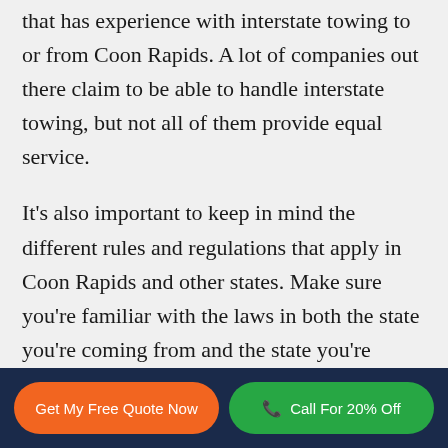that has experience with interstate towing to or from Coon Rapids. A lot of companies out there claim to be able to handle interstate towing, but not all of them provide equal service.
It's also important to keep in mind the different rules and regulations that apply in Coon Rapids and other states. Make sure you're familiar with the laws in both the state you're coming from and the state you're going to. A good shipping company should understand these regulations
Get My Free Quote Now | Call For 20% Off